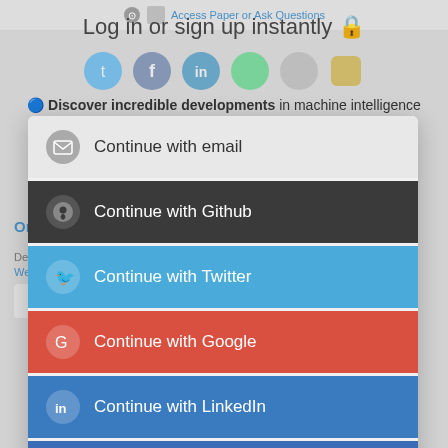Access Paper or Ask Questions
Log in or sign up instantly 🔒
🔵 Discover incredible developments in machine intelligence
⬛ Quickly get code for any ML model
🔵 Get help from authors, engineers & researchers
Ontology-driven Information Extraction
Dec 18, 2015
Weronika T. Adrian, Nicola Leone, Marco Manna
[Figure (screenshot): View Code button with GitHub icon]
[Figure (screenshot): Login modal with Continue with email, Continue with Github, Continue with Twitter, Continue with Google, Continue with LinkedIn, Continue with Facebook buttons]